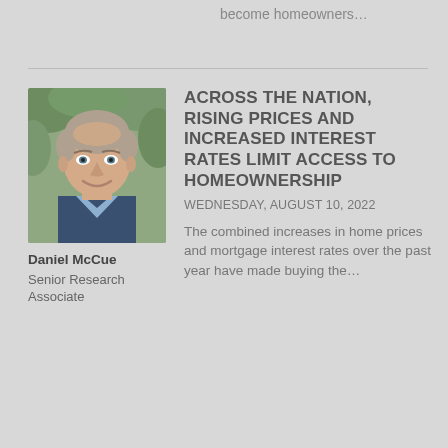become homeowners…
[Figure (photo): Headshot of Daniel McCue, a middle-aged white man with short hair, wearing a dark blazer and light blue collared shirt, smiling, with green foliage background.]
Daniel McCue
Senior Research Associate
ACROSS THE NATION, RISING PRICES AND INCREASED INTEREST RATES LIMIT ACCESS TO HOMEOWNERSHIP
WEDNESDAY, AUGUST 10, 2022
The combined increases in home prices and mortgage interest rates over the past year have made buying the…